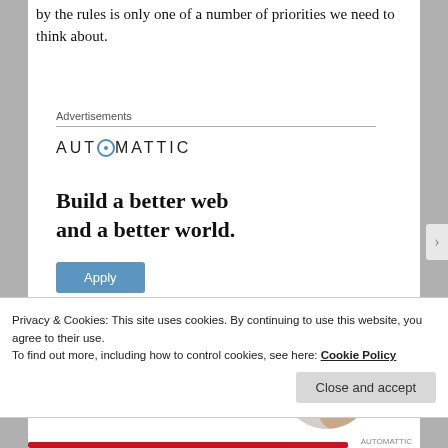by the rules is only one of a number of priorities we need to think about.
Advertisements
[Figure (logo): Automattic logo with stylized compass/clock O letter]
[Figure (illustration): Advertisement: Build a better web and a better world. Apply button with photo of man thinking.]
Privacy & Cookies: This site uses cookies. By continuing to use this website, you agree to their use.
To find out more, including how to control cookies, see here: Cookie Policy
Close and accept